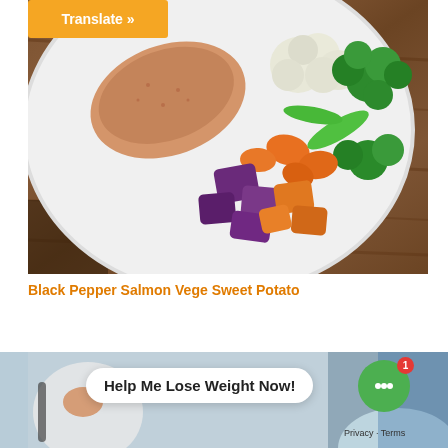[Figure (photo): Overhead photo of a white plate with black pepper salmon, colorful steamed vegetables (broccoli, cauliflower, carrots, snap peas), and purple and orange sweet potato chunks, on a wooden cutting board background. An orange 'Translate »' button appears in the top-left corner of the image.]
Black Pepper Salmon Vege Sweet Potato
[Figure (screenshot): Partial screenshot of a food/diet website showing another food image at the bottom, with a chat widget bubble saying 'Help Me Lose Weight Now!' and a green chat icon with a '1' notification badge. A 'Privacy · Terms' link is visible in the bottom right.]